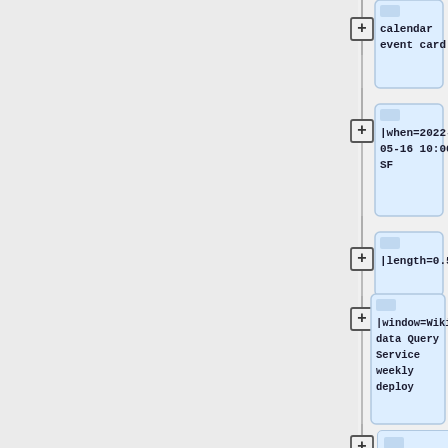[Figure (flowchart): A vertical flowchart/tree diagram showing wiki template parameters as connected card nodes. Visible nodes from top: 'calendar event card', '|when=2022-05-16 10:00 SF', '|length=0.5', '|window=Wikidata Query Service weekly deploy', '|who={{ircnick|ryankemper|Ryan}}'. Each node has a + button on a vertical connector line.]